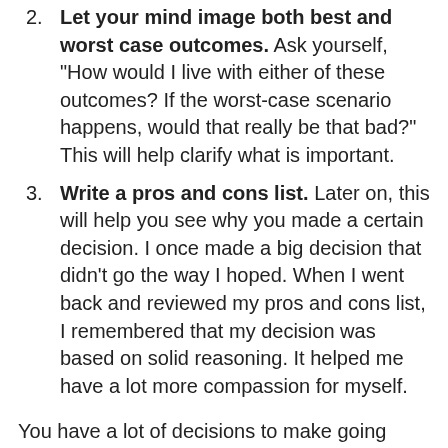2. Let your mind image both best and worst case outcomes. Ask yourself, "How would I live with either of these outcomes? If the worst-case scenario happens, would that really be that bad?" This will help clarify what is important.
3. Write a pros and cons list. Later on, this will help you see why you made a certain decision. I once made a big decision that didn't go the way I hoped. When I went back and reviewed my pros and cons list, I remembered that my decision was based on solid reasoning. It helped me have a lot more compassion for myself.
You have a lot of decisions to make going through a breakup or divorce. Some will be better than others. Some will even be good. Keeping a journal of your journey and writing down pros and cons lists can keep